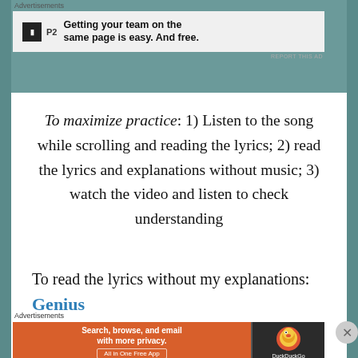Advertisements
[Figure (other): P2 advertisement banner: logo box with 'P2' text, ad copy reading 'Getting your team on the same page is easy. And free.']
REPORT THIS AD
To maximize practice: 1) Listen to the song while scrolling and reading the lyrics; 2) read the lyrics and explanations without music; 3) watch the video and listen to check understanding
To read the lyrics without my explanations: Genius
Advertisements
[Figure (other): DuckDuckGo advertisement banner: orange section with 'Search, browse, and email with more privacy. All in One Free App' and dark section with DuckDuckGo duck logo]
REPORT THIS AD